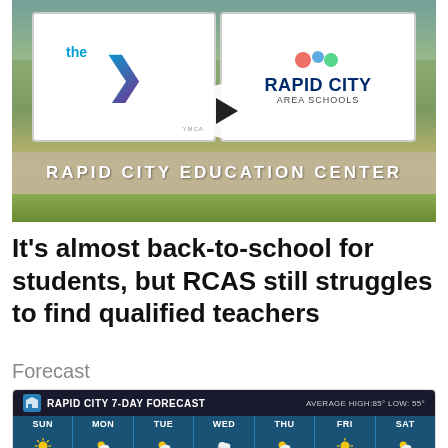[Figure (photo): Photo of a sign reading 'RAPID CITY EDUCATION CENTER' with YMCA logo on the left panel and Rapid City Area Schools logo on the right panel. A circular play button overlay is centered on the image.]
It's almost back-to-school for students, but RCAS still struggles to find qualified teachers
Forecast
[Figure (infographic): Rapid City 7-Day Forecast widget showing days SUN through SAT. Average High: 85° Low: 55°. Weather icons (sun/partly cloudy) for each day.]